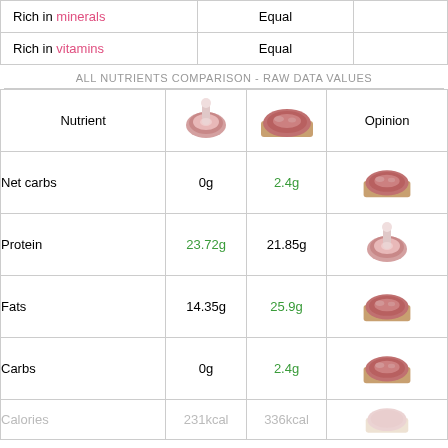|  |  |  |
| --- | --- | --- |
| Rich in minerals | Equal |  |
| Rich in vitamins | Equal |  |
ALL NUTRIENTS COMPARISON - RAW DATA VALUES
| Nutrient | [pork chop image] | [ribeye image] | Opinion |
| --- | --- | --- | --- |
| Net carbs | 0g | 2.4g | [ribeye image] |
| Protein | 23.72g | 21.85g | [pork chop image] |
| Fats | 14.35g | 25.9g | [ribeye image] |
| Carbs | 0g | 2.4g | [ribeye image] |
| Calories | 231kcal | 336kcal | [image] |